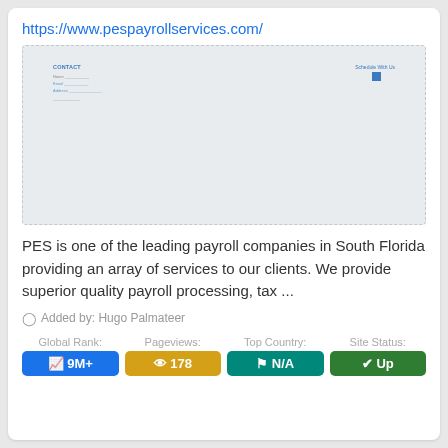https://www.pespayrollservices.com/
[Figure (screenshot): Blurred screenshot of pespayrollservices.com website showing a contact/login form with fields and a 'Schedule With Us' button on the right.]
PES is one of the leading payroll companies in South Florida providing an array of services to our clients. We provide superior quality payroll processing, tax ...
Added by: Hugo Palmateer
Global Rank: 9M+
Pageviews: 178
Top Country: N/A
Site Status: Up